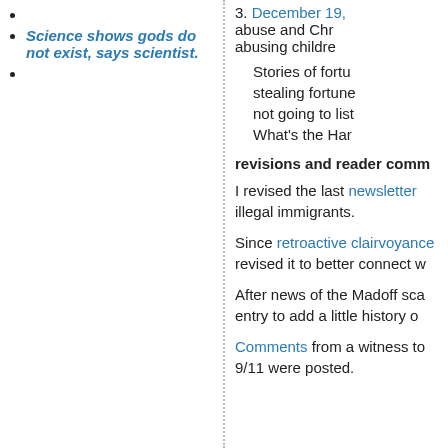Science shows gods do not exist, says scientist.
3. December 19, abuse and Chr abusing childre
Stories of fortu stealing fortune not going to list What's the Har
revisions and reader comm
I revised the last newsletter illegal immigrants.
Since retroactive clairvoyance revised it to better connect w
After news of the Madoff sca entry to add a little history o
Comments from a witness to 9/11 were posted.